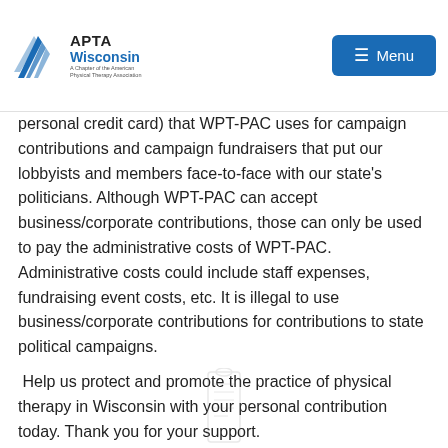APTA Wisconsin — A Chapter of the American Physical Therapy Association | Menu
personal credit card) that WPT-PAC uses for campaign contributions and campaign fundraisers that put our lobbyists and members face-to-face with our state's politicians. Although WPT-PAC can accept business/corporate contributions, those can only be used to pay the administrative costs of WPT-PAC. Administrative costs could include staff expenses, fundraising event costs, etc. It is illegal to use business/corporate contributions for contributions to state political campaigns.
Help us protect and promote the practice of physical therapy in Wisconsin with your personal contribution today. Thank you for your support.
[Figure (illustration): Faint vertical illustration of a scroll or document at the bottom center of the page]